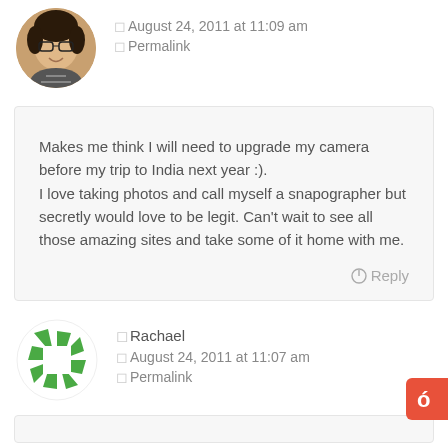[Figure (photo): Circular avatar photo of a woman with glasses and dark hair, smiling]
August 24, 2011 at 11:09 am
Permalink
Makes me think I will need to upgrade my camera before my trip to India next year :).
I love taking photos and call myself a snapographer but secretly would love to be legit. Can't wait to see all those amazing sites and take some of it home with me.
Reply
[Figure (logo): Green camera aperture icon / logo]
Rachael
August 24, 2011 at 11:07 am
Permalink
[Figure (logo): Jotform red logo button in bottom right corner]